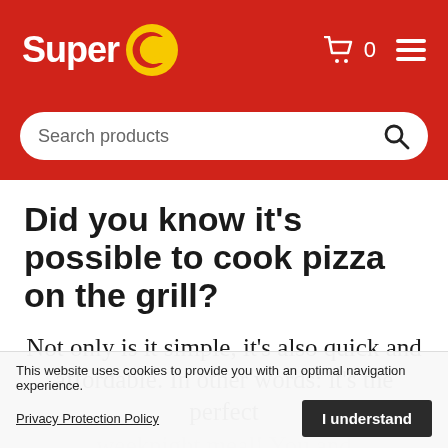Super C
[Figure (screenshot): Search bar with placeholder text 'Search products' and a magnifying glass icon]
Did you know it's possible to cook pizza on the grill?
Not only is it simple, it's also quick and affordable. In other words: it's the perfect weeknight meal! You and your kids differ whe... flavour? Th...
This website uses cookies to provide you with an optimal navigation experience. Privacy Protection Policy | I understand